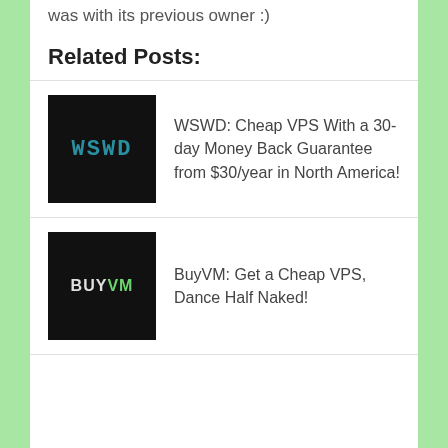was with its previous owner :)
Related Posts:
[Figure (logo): WSWD logo — white text on black background with teal/blue color]
WSWD: Cheap VPS With a 30-day Money Back Guarantee from $30/year in North America!
[Figure (logo): BuyVM logo — white and green text on black background]
BuyVM: Get a Cheap VPS, Dance Half Naked!